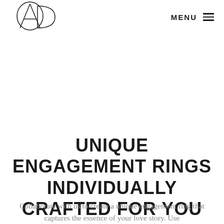AD logo | MENU
UNIQUE ENGAGEMENT RINGS INDIVIDUALLY CRAFTED FOR YOU
Collaborate with us to create a unique engagement ring that captures the essence of your love story. Use